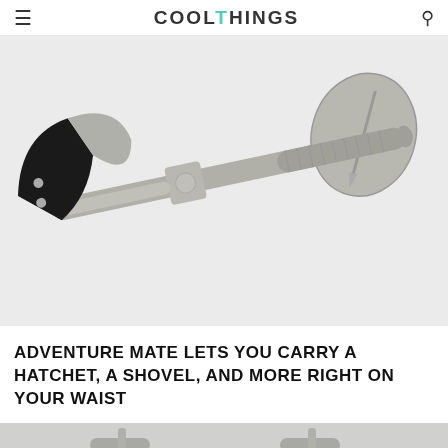COOLTHINGS
[Figure (photo): A multi-tool adventure product showing a hatchet with black leather sheath and a foldable shovel attached to a textured silver metal handle/pole, displayed on a white background.]
ADVENTURE MATE LETS YOU CARRY A HATCHET, A SHOVEL, AND MORE RIGHT ON YOUR WAIST
[Figure (photo): Bottom cropped teaser image showing the lower portion of the Adventure Mate multi-tool product on a light background.]